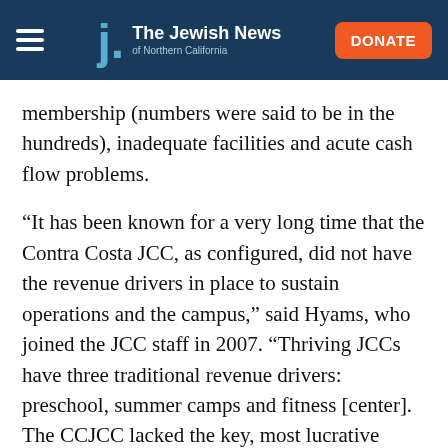The Jewish News of Northern California
membership (numbers were said to be in the hundreds), inadequate facilities and acute cash flow problems.
“It has been known for a very long time that the Contra Costa JCC, as configured, did not have the revenue drivers in place to sustain operations and the campus,” said Hyams, who joined the JCC staff in 2007. “Thriving JCCs have three traditional revenue drivers: preschool, summer camps and fitness [center]. The CCJCC lacked the key, most lucrative component, fitness, which drives membership.”